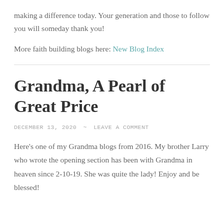making a difference today. Your generation and those to follow you will someday thank you!
More faith building blogs here: New Blog Index
Grandma, A Pearl of Great Price
DECEMBER 13, 2020 ~ LEAVE A COMMENT
Here’s one of my Grandma blogs from 2016. My brother Larry who wrote the opening section has been with Grandma in heaven since 2-10-19. She was quite the lady! Enjoy and be blessed!